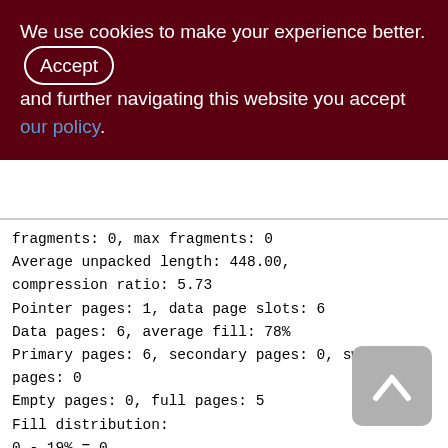We use cookies to make your experience better. By accepting and further navigating this website you accept our policy.
fragments: 0, max fragments: 0
Average unpacked length: 448.00,
compression ratio: 5.73
Pointer pages: 1, data page slots: 6
Data pages: 6, average fill: 78%
Primary pages: 6, secondary pages: 0, swept pages: 0
Empty pages: 0, full pages: 5
Fill distribution:
0 - 19% = 0
20 - 39% = 0
40 - 59% = 0
60 - 79% = 4